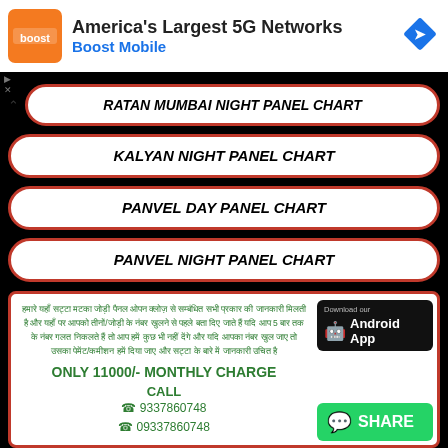[Figure (screenshot): Boost Mobile advertisement banner with logo, headline 'America's Largest 5G Networks', subtitle 'Boost Mobile', and a blue navigation diamond icon]
RATAN MUMBAI NIGHT PANEL CHART
KALYAN NIGHT PANEL CHART
PANVEL DAY PANEL CHART
PANVEL NIGHT PANEL CHART
Hindi promotional text about panel chart service
ONLY 11000/- MONTHLY CHARGE
CALL
☎ 9337860748
☎ 09337860748